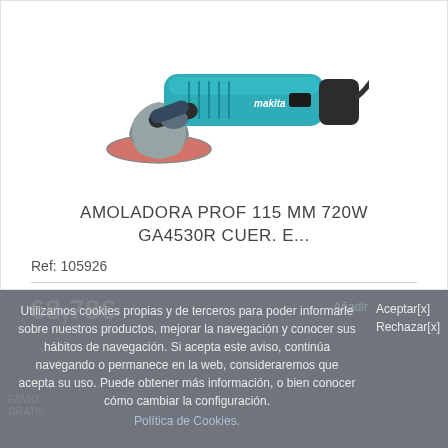[Figure (photo): Makita angle grinder GA4530R in teal/black color with grinding disc attached, product photo on white background]
AMOLADORA PROF 115 MM 720W GA4530R CUER. E...
Ref: 105926
Utilizamos cookies propias y de terceros para poder informarle sobre nuestros productos, mejorar la navegación y conocer sus hábitos de navegación. Si acepta este aviso, continúa navegando o permanece en la web, consideraremos que acepta su uso. Puede obtener más información, o bien conocer cómo cambiar la configuración. Política de Cookies.